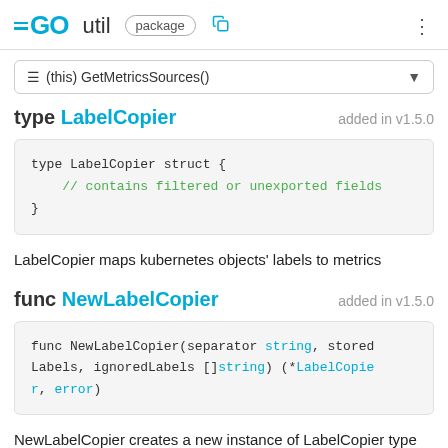GO util package
≡ (this) GetMetricsSources()
type LabelCopier  added in v1.5.0
LabelCopier maps kubernetes objects' labels to metrics
func NewLabelCopier  added in v1.5.0
NewLabelCopier creates a new instance of LabelCopier type